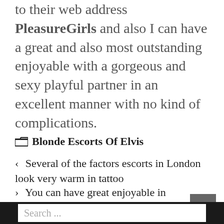to their web address PleasureGirls and also I can have a great and also most outstanding enjoyable with a gorgeous and sexy playful partner in an excellent manner with no kind of complications.
Blonde Escorts Of Elvis
< Several of the factors escorts in London look very warm in tattoo
> You can have great enjoyable in London with warm escorts in London
[Figure (screenshot): Website screenshot showing a search bar with placeholder text 'Search ...' on a dark background, with a scroll-to-top button (caret up arrow) on the right side.]